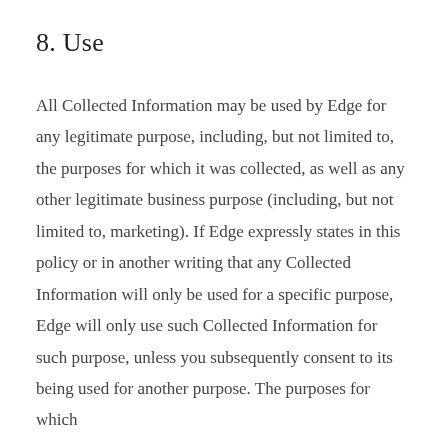8. Use
All Collected Information may be used by Edge for any legitimate purpose, including, but not limited to, the purposes for which it was collected, as well as any other legitimate business purpose (including, but not limited to, marketing). If Edge expressly states in this policy or in another writing that any Collected Information will only be used for a specific purpose, Edge will only use such Collected Information for such purpose, unless you subsequently consent to its being used for another purpose. The purposes for which